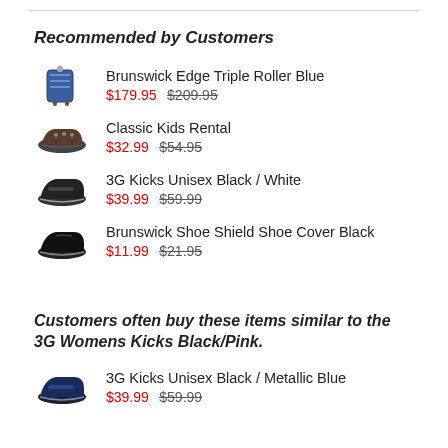Recommended by Customers
Brunswick Edge Triple Roller Blue $179.95 $209.95
Classic Kids Rental $32.99 $54.95
3G Kicks Unisex Black / White $39.99 $59.99
Brunswick Shoe Shield Shoe Cover Black $11.99 $21.95
Customers often buy these items similar to the 3G Womens Kicks Black/Pink.
3G Kicks Unisex Black / Metallic Blue $39.99 $59.99